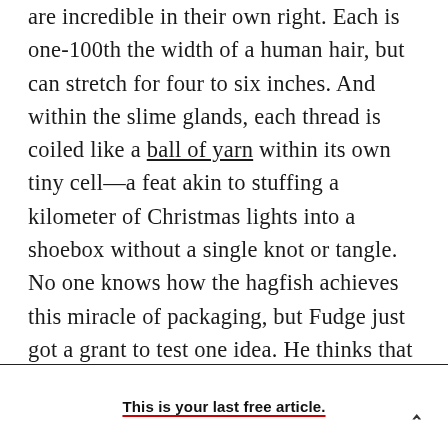are incredible in their own right. Each is one-100th the width of a human hair, but can stretch for four to six inches. And within the slime glands, each thread is coiled like a ball of yarn within its own tiny cell—a feat akin to stuffing a kilometer of Christmas lights into a shoebox without a single knot or tangle. No one knows how the hagfish achieves this miracle of packaging, but Fudge just got a grant to test one idea. He thinks that the thread cells use their nuclei—the DNA-containing structures at their core—like a spindle, turning them to wind the growing protein threads into a single continuous loop.
This is your last free article.